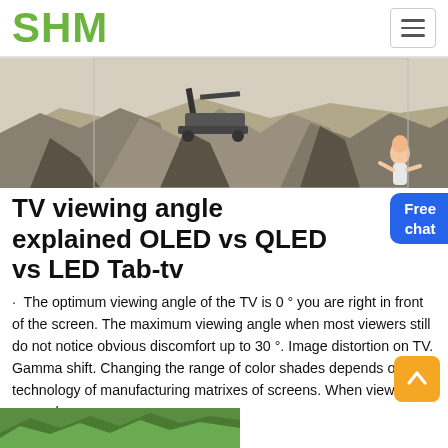SHM
[Figure (photo): Aerial view of a mining/quarry site with heavy machinery and piles of crushed rock/gravel]
TV viewing angle explained OLED vs QLED vs LED Tab-tv
The optimum viewing angle of the TV is 0 ° you are right in front of the screen. The maximum viewing angle when most viewers still do not notice obvious discomfort up to 30 °. Image distortion on TV. Gamma shift. Changing the range of color shades depends on the technology of manufacturing matrixes of screens. When viewed at an angle some
Chat Online
[Figure (photo): Partial view of a green outdoor/nature scene at bottom of page]